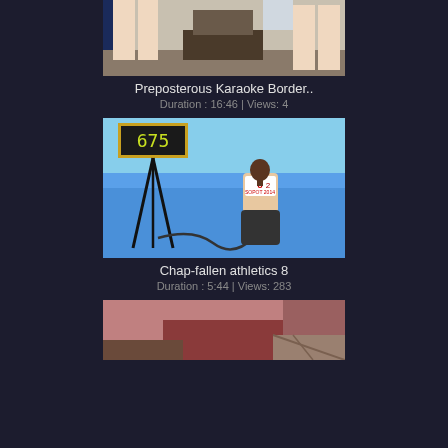[Figure (photo): Partial view of people's legs in an indoor setting, top portion of video thumbnail]
Preposterous Karaoke Border..
Duration : 16:46 | Views: 4
[Figure (photo): Female track and field athlete wearing bib number 812, viewed from behind on athletics track, with timing equipment on tripod in background]
Chap-fallen athletics 8
Duration : 5:44 | Views: 283
[Figure (photo): Close-up view of person in tight dark clothing, partial body shot, bottom thumbnail]